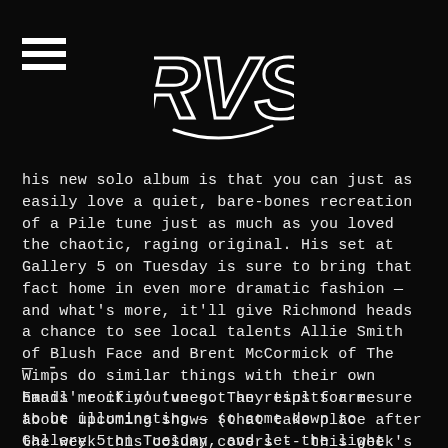RVS logo and hamburger menu
his new solo album is that you can just as easily love a quiet, bare-bones recreation of a Pile tune just as much as you loved the chaotic, raging original. His set at Gallery 5 on Tuesday is sure to bring that fact home in even more dramatic fashion — and what's more, it'll give Richmond heads a chance to see local talents Allie Smith of Blush Face and Brent McCormick of The Wimps do similar things with their own bands' rockin' tunes. The results are sure to be illuminating — so come down to Gallery 5 on Tuesday, and let the light shine upon your face.
— -
Email me if you've got any tips for me about upcoming shows (that take place after the week this column covers -- this week's column has obviously already been